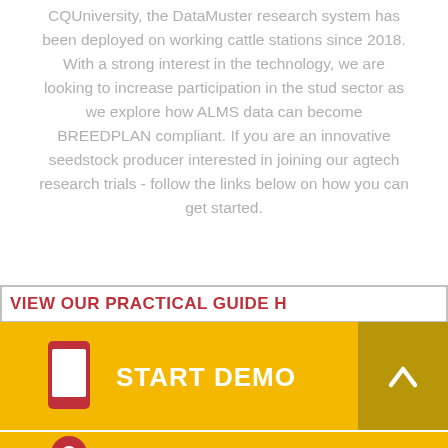CQUniversity, the DataMuster research system has been deployed on working cattle stations since 2018. With a strong interest in the technology, we are looking to increase participation in the stud sector as we explore how ALMS data can become BREEDPLAN compliant. If you are an innovative seedstock producer interested in joining our agtech research trials - follow the links below on how you can get started.
VIEW OUR PRACTICAL GUIDE H
START DEMO
PRECISION LIVESTOCK MANAGEMENT